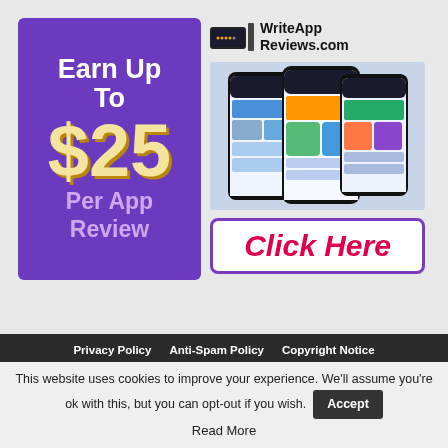[Figure (infographic): Purple banner ad with text 'Earn Up To $25 Per App Review' on left panel, and WriteAppReviews.com logo with phone screenshots and Click Here button on right panel]
WriteApp Reviews.com
Earn Up To $25 Per App Review
Click Here
Privacy Policy  Anti-Spam Policy  Copyright Notice
This website uses cookies to improve your experience. We'll assume you're ok with this, but you can opt-out if you wish.
Accept
Read More